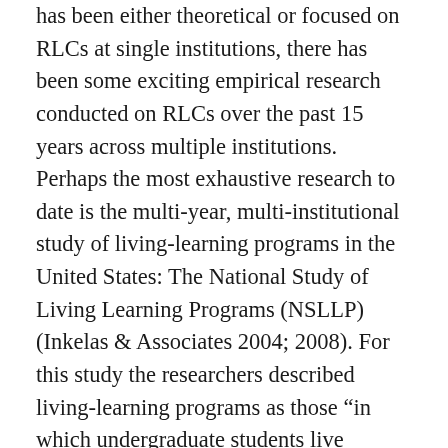has been either theoretical or focused on RLCs at single institutions, there has been some exciting empirical research conducted on RLCs over the past 15 years across multiple institutions. Perhaps the most exhaustive research to date is the multi-year, multi-institutional study of living-learning programs in the United States: The National Study of Living Learning Programs (NSLLP) (Inkelas & Associates 2004; 2008). For this study the researchers described living-learning programs as those “in which undergraduate students live together in a discrete portion of a residence hall (or the entire hall) and participate in academic and/or extra-curricular programming designed especially for them” (Inkolas & Associates 2004; 2008). Through the